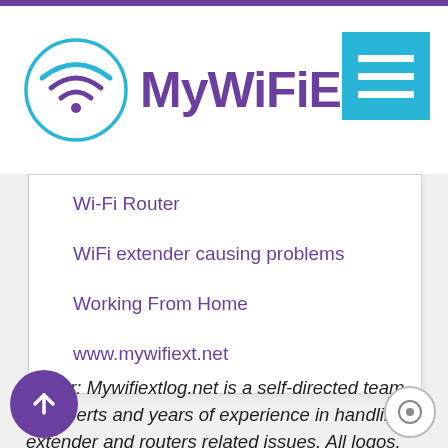[Figure (logo): MyWiFiExt logo with WiFi symbol in circle and purple text brand name, plus cyan menu button]
Wi-Fi Router
WiFi extender causing problems
Working From Home
www.mywifiext.net
Disclaimer: Mywifiextlog.net is a self-directed team of experts and years of experience in handling extender and routers related issues. All logos, brand names, images and trademarks used in the website are for referential purpos...